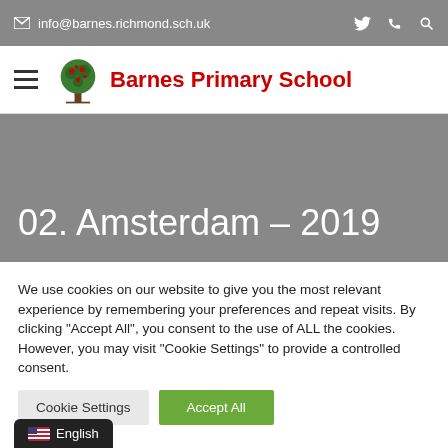info@barnes.richmond.sch.uk
Barnes Primary School
02. Amsterdam – 2019
We use cookies on our website to give you the most relevant experience by remembering your preferences and repeat visits. By clicking "Accept All", you consent to the use of ALL the cookies. However, you may visit "Cookie Settings" to provide a controlled consent.
Cookie Settings | Accept All
English